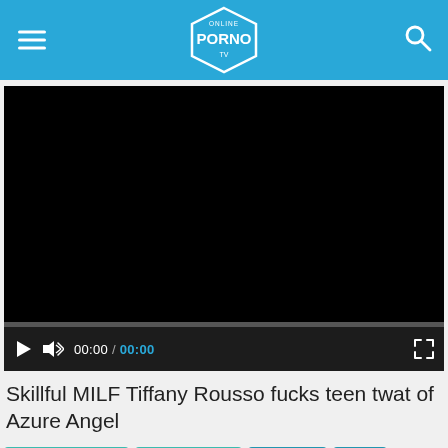Online Porno TV
[Figure (screenshot): Black video player with progress bar and controls showing play button, volume icon, time 00:00 / 00:00, and fullscreen button]
Skillful MILF Tiffany Rousso fucks teen twat of Azure Angel
Tiffany Rousso
Azure Angel
Blowjob
Oral
Handjob
Cowgirl
Reverse Cowgirl
Missionary